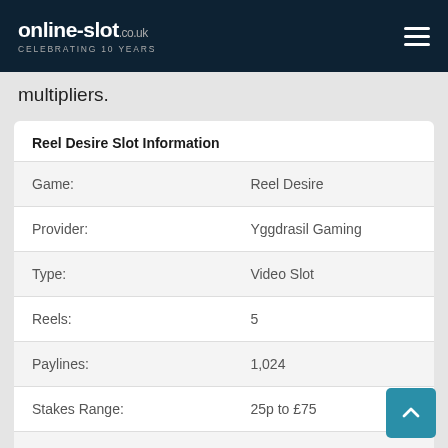online-slot.co.uk — CELEBRATING 10 YEARS
multipliers.
| Field | Value |
| --- | --- |
| Game: | Reel Desire |
| Provider: | Yggdrasil Gaming |
| Type: | Video Slot |
| Reels: | 5 |
| Paylines: | 1,024 |
| Stakes Range: | 25p to £75 |
| Bonus Features: | Yes (?) |